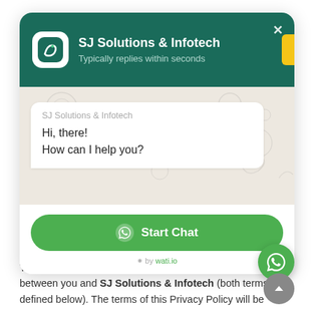[Figure (screenshot): WhatsApp-style chat widget popup for SJ Solutions & Infotech showing header with logo and name, chat bubble with greeting message, Start Chat button, and wati.io credit]
does not require any physical, electronic or digital signature.
This Privacy Policy is a legally binding document between you and SJ Solutions & Infotech (both terms defined below). The terms of this Privacy Policy will be